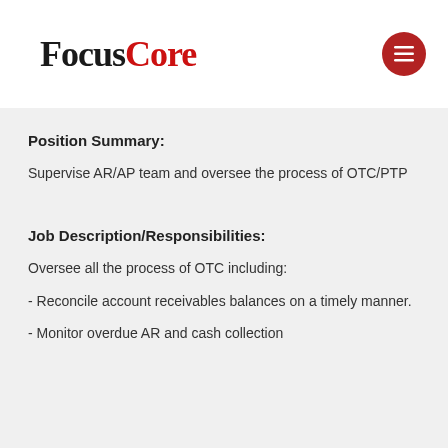FocusCore
Position Summary:
Supervise AR/AP team and oversee the process of OTC/PTP
Job Description/Responsibilities:
Oversee all the process of OTC including:
- Reconcile account receivables balances on a timely manner.
- Monitor overdue AR and cash collection